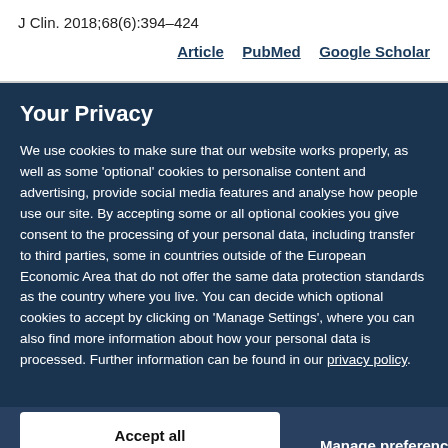J Clin. 2018;68(6):394–424
Article   PubMed   Google Scholar
Your Privacy
We use cookies to make sure that our website works properly, as well as some 'optional' cookies to personalise content and advertising, provide social media features and analyse how people use our site. By accepting some or all optional cookies you give consent to the processing of your personal data, including transfer to third parties, some in countries outside of the European Economic Area that do not offer the same data protection standards as the country where you live. You can decide which optional cookies to accept by clicking on 'Manage Settings', where you can also find more information about how your personal data is processed. Further information can be found in our privacy policy.
Accept all cookies
Manage preferences